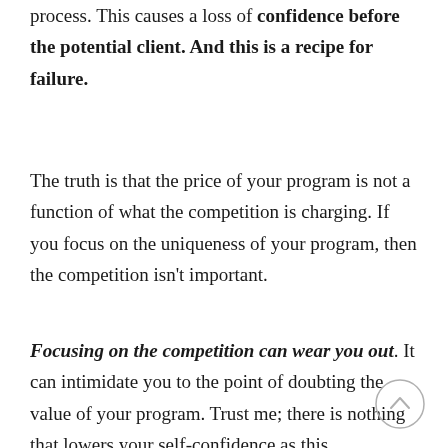process. This causes a loss of confidence before the potential client. And this is a recipe for failure.
The truth is that the price of your program is not a function of what the competition is charging. If you focus on the uniqueness of your program, then the competition isn't important.
Focusing on the competition can wear you out. It can intimidate you to the point of doubting the value of your program. Trust me; there is nothing that lowers your self-confidence as this